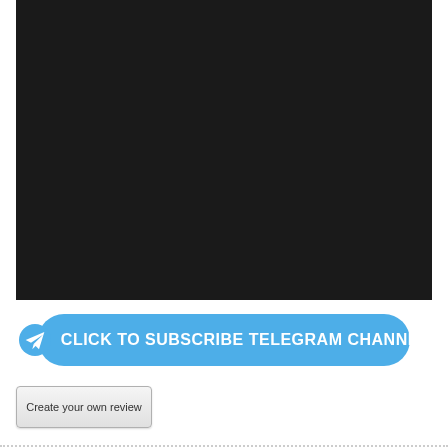[Figure (other): Large black/dark rectangle representing a video or media placeholder area]
CLICK TO SUBSCRIBE TELEGRAM CHANNEL
Create your own review